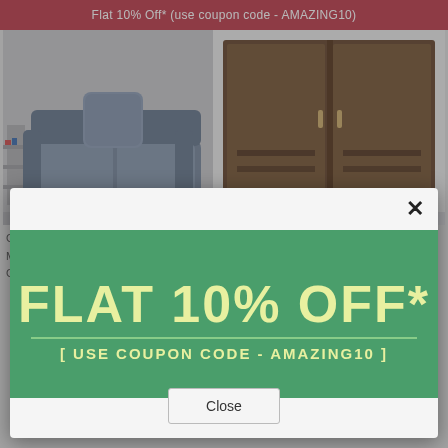Flat 10% Off* (use coupon code - AMAZING10)
[Figure (screenshot): E-commerce website screenshot showing furniture products: a grey sofa/armchair on the left and a dark brown wardrobe on the right, with a promotional popup overlay.]
FLAT 10% OFF*
[ USE COUPON CODE - AMAZING10 ]
Close